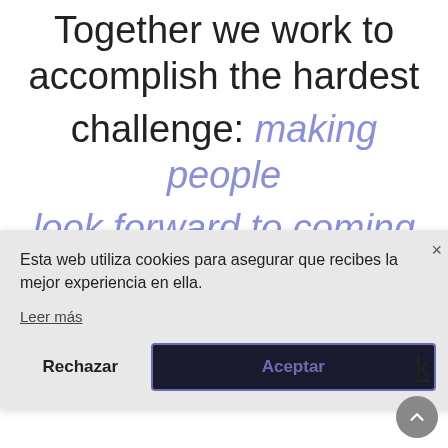Together we work to accomplish the hardest challenge: making people look forward to coming
[Figure (screenshot): Cookie consent dialog overlay with close button, cookie policy text in Spanish, 'Leer más' link, and 'Rechazar' / 'Aceptar' buttons. Background shows partial italic blue text.]